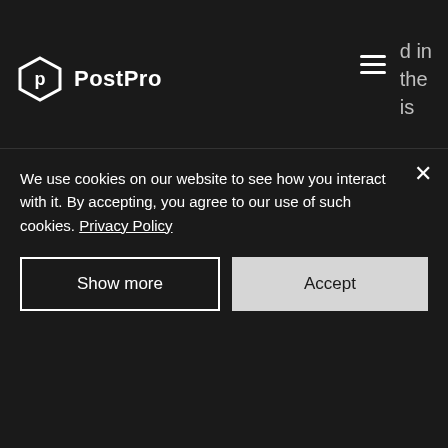PostPro
holiday.
Law and Jurisdiction
These terms and conditions and the relationship between you and PostPro shall be governed by and construed in accordance with the Law of Israel and PostPro and you agree to submit to the exclusive jurisdiction of the Courts of Tel
We use cookies on our website to see how you interact with it. By accepting, you agree to our use of such cookies. Privacy Policy